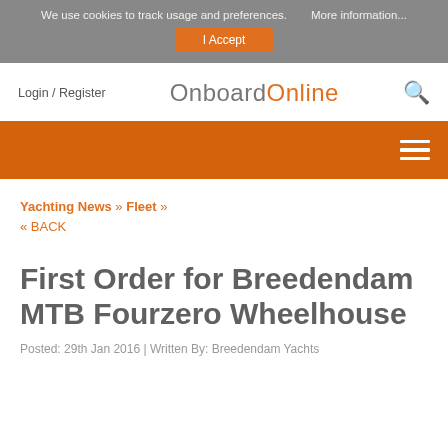We use cookies to track usage and preferences.  More information...  I Accept
Login / Register  OnboardOnline  [search icon]
[Figure (other): Orange navigation bar with hamburger menu icon]
Yachting News » Fleet » « BACK
First Order for Breedendam MTB Fourzero Wheelhouse
Posted: 29th Jan 2016 | Written By: Breedendam Yachts